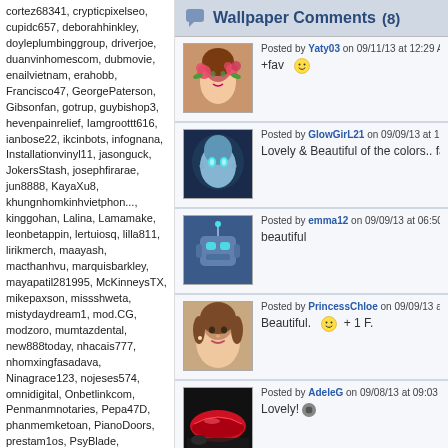cortez68341, crypticpixelseo, cupidc657, deborahhinkley, doyleplumbinggroup, driverjoe, duanvinhomescom, dubmovie, enailvietnam, erahobb, Francisco47, GeorgePaterson, Gibsonfan, gotrup, guybishop3, hevenpainrelief, Iamgroottt616, ianbose22, ikcinbots, infognana, Installationvinyl11, jasonguck, JokersStash, josephfirarae, jun8888, KayaXu8, khungnhomkinhvietphon..., kinggohan, Lalina, Lamamake, leonbetappin, lertuiosq, lilla811, lirikmerch, maayash, macthanhvu, marquisbarkley, mayapatil281995, McKinneysTX, mikepaxson, missshweta, mistydaydream1, mod.CG, modzoro, mumtazdental, new888today, nhacais777, nhomxingfasadava, Ninagrace123, nojeses574, omnidigital, Onbetlinkcom, Penmanmnotaries, Pepa47D, phanmemketoan, PianoDoors, prestam1os, PsyBlade, qckntxhitnhed, SabineBrown, SalasloveStore, Samlokiy, sarmsvssteroids, Shakhawat101, Sharktankketogummiesu..., Shonu12aug, socialbacklink1, sonygatla, steverogers9005, susiestravelweb, SwastikPackersinMumba..., taigamekingfunus, texaspurselawyers
Wallpaper Comments (8)
Posted by Yaty03 on 09/11/13 at 12:29 A
+fav 😊
Posted by GlowGirL21 on 09/09/13 at 11...
Lovely & Beautiful of the colors.. fav-
Posted by emma12 on 09/09/13 at 06:50
beautiful
Posted by PrincessChloe on 09/09/13 a...
Beautiful. 😊 + 1 F.
Posted by AdeleG on 09/08/13 at 09:03
Lovely!⚙
Posted by Blissful on 09/08/13 at 03:2...